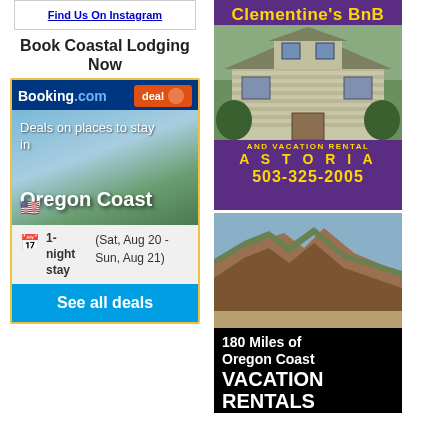[Figure (screenshot): Find Us On Instagram link in a bordered box]
Book Coastal Lodging Now
[Figure (screenshot): Booking.com widget for Oregon Coast showing deal banner, scenic photo, 1-night stay (Sat Aug 20 - Sun Aug 21), and See all deals button]
[Figure (screenshot): Clementine's BnB and Vacation Rental Astoria ad with purple background, yellow text, house photo, phone 503-325-2005]
[Figure (screenshot): 180 Miles of Oregon Coast Vacation Rentals Biggest Ever - coastal cliffs photo with black text overlay]